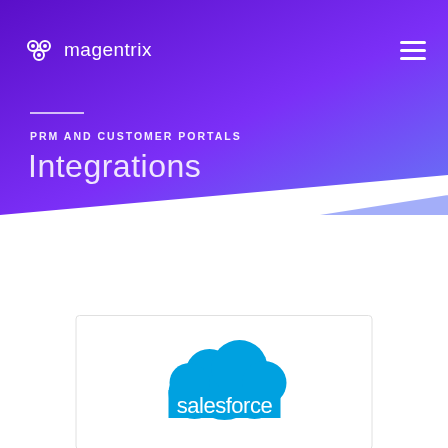magentrix [logo] [hamburger menu]
PRM AND CUSTOMER PORTALS
Integrations
[Figure (logo): Salesforce logo: blue cloud shape with 'salesforce' text in white]